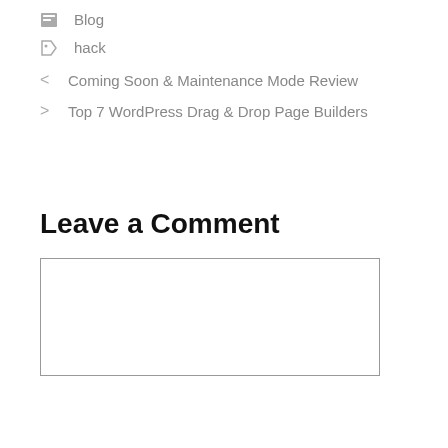Blog
hack
< Coming Soon & Maintenance Mode Review
> Top 7 WordPress Drag & Drop Page Builders
Leave a Comment